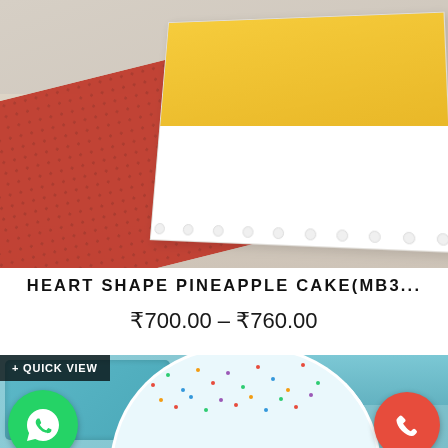[Figure (photo): Heart shape pineapple cake with yellow top and white frosting, on a table with red patterned fabric, viewed from above.]
HEART SHAPE PINEAPPLE CAKE(MB3...
₹700.00 – ₹760.00
[Figure (photo): Teal/blue decorated cake with confetti sprinkles on top and white pearl border, on blue board with blue cylindrical object, with Quick View overlay button, WhatsApp and phone call buttons at bottom.]